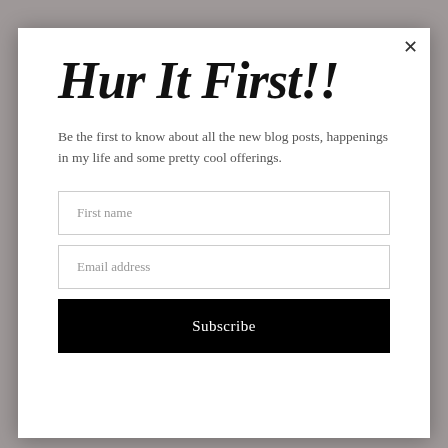Hur It First!!
Be the first to know about all the new blog posts, happenings in my life and some pretty cool offerings.
First name
Email address
Subscribe